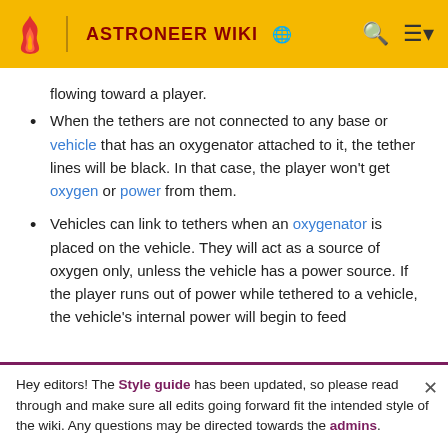ASTRONEER WIKI
flowing toward a player.
When the tethers are not connected to any base or vehicle that has an oxygenator attached to it, the tether lines will be black. In that case, the player won't get oxygen or power from them.
Vehicles can link to tethers when an oxygenator is placed on the vehicle. They will act as a source of oxygen only, unless the vehicle has a power source. If the player runs out of power while tethered to a vehicle, the vehicle's internal power will begin to feed
Hey editors! The Style guide has been updated, so please read through and make sure all edits going forward fit the intended style of the wiki. Any questions may be directed towards the admins.